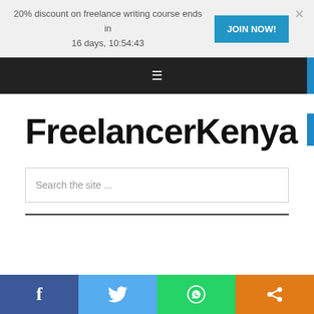20% discount on freelance writing course ends in 16 days, 10:54:43
JOIN NOW!
[Figure (screenshot): Dark navigation bar with hamburger menu icon (three horizontal lines)]
FreelancerKenya
Search the site ...
[Figure (infographic): Social share bar with Facebook, Twitter, WhatsApp, and share icons]